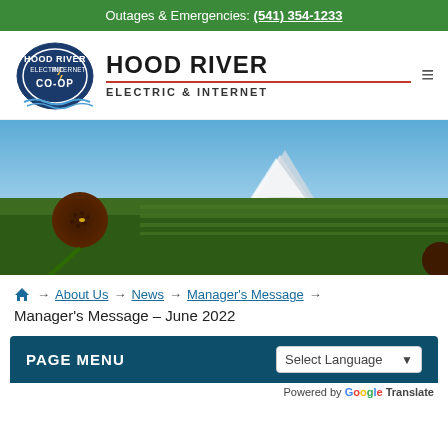Outages & Emergencies: (541) 354-1233
[Figure (logo): Hood River Electric & Internet Co-Op logo — oval badge with dark blue background, lightning bolt, text HOOD RIVER ELECTRIC INTERNET CO-OP]
HOOD RIVER ELECTRIC & INTERNET
[Figure (photo): Outdoor scene with large sunflower in foreground, green agricultural fields, and Mount Hood snow-capped mountain in the background under blue sky]
🏠 → About Us → News → Manager's Message →
Manager's Message – June 2022
PAGE MENU
Select Language